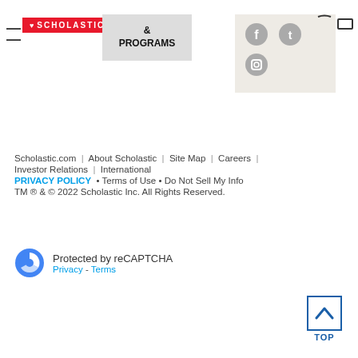[Figure (screenshot): Scholastic website header with logo, navigation showing & PROGRAMS, and social media icons (Facebook, Twitter, Instagram) in a beige box]
Scholastic.com | About Scholastic | Site Map | Careers | Investor Relations | International
PRIVACY POLICY • Terms of Use • Do Not Sell My Info
TM ® & © 2022 Scholastic Inc. All Rights Reserved.
Protected by reCAPTCHA
Privacy - Terms
[Figure (other): TOP button with upward chevron arrow in a blue-bordered square, labeled TOP]